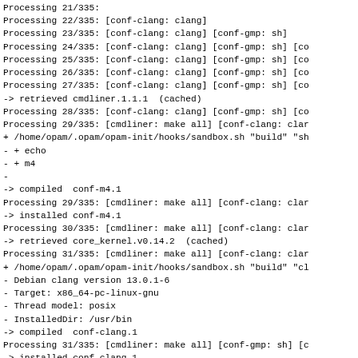Processing 21/335:
Processing 22/335: [conf-clang: clang]
Processing 23/335: [conf-clang: clang] [conf-gmp: sh]
Processing 24/335: [conf-clang: clang] [conf-gmp: sh] [co
Processing 25/335: [conf-clang: clang] [conf-gmp: sh] [co
Processing 26/335: [conf-clang: clang] [conf-gmp: sh] [co
Processing 27/335: [conf-clang: clang] [conf-gmp: sh] [co
-> retrieved cmdliner.1.1.1  (cached)
Processing 28/335: [conf-clang: clang] [conf-gmp: sh] [co
Processing 29/335: [cmdliner: make all] [conf-clang: clar
+ /home/opam/.opam/opam-init/hooks/sandbox.sh "build" "sh
- + echo
- + m4
-
-> compiled  conf-m4.1
Processing 29/335: [cmdliner: make all] [conf-clang: clar
-> installed conf-m4.1
Processing 30/335: [cmdliner: make all] [conf-clang: clar
-> retrieved core_kernel.v0.14.2  (cached)
Processing 31/335: [cmdliner: make all] [conf-clang: clar
+ /home/opam/.opam/opam-init/hooks/sandbox.sh "build" "cl
- Debian clang version 13.0.1-6
- Target: x86_64-pc-linux-gnu
- Thread model: posix
- InstalledDir: /usr/bin
-> compiled  conf-clang.1
Processing 31/335: [cmdliner: make all] [conf-gmp: sh] [c
-> installed conf-clang.1
Processing 32/335: [cmdliner: make all] [conf-gmp: sh] [c
+ /home/opam/.opam/opam-init/hooks/sandbox.sh "build" "sh